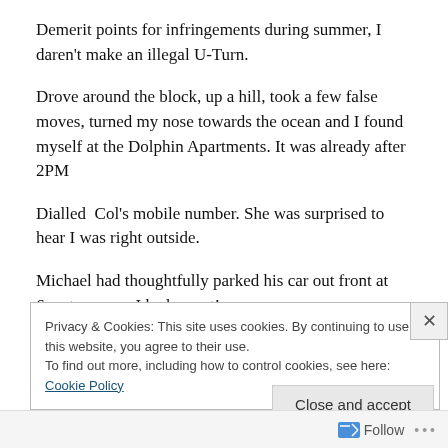Demerit points for infringements during summer, I daren't make an illegal U-Turn.
Drove around the block, up a hill, took a few false moves, turned my nose towards the ocean and I found myself at the Dolphin Apartments. It was already after 2PM
Dialled  Col's mobile number. She was surprised to hear I was right outside.
Michael had thoughtfully parked his car out front at 6am to ensure I had a spot!
Privacy & Cookies: This site uses cookies. By continuing to use this website, you agree to their use.
To find out more, including how to control cookies, see here: Cookie Policy
Close and accept
Follow